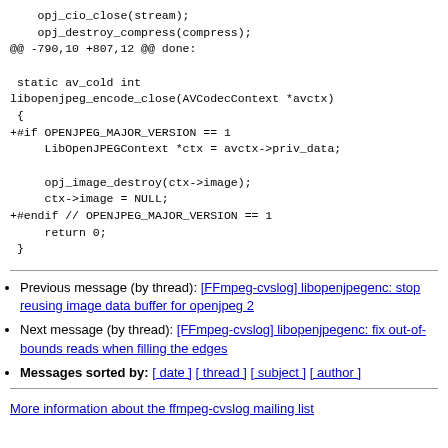opj_cio_close(stream);
    opj_destroy_compress(compress);
@@ -790,10 +807,12 @@ done:

 static av_cold int
libopenjpeg_encode_close(AVCodecContext *avctx)
 {
+#if OPENJPEG_MAJOR_VERSION == 1
     LibOpenJPEGContext *ctx = avctx->priv_data;

     opj_image_destroy(ctx->image);
     ctx->image = NULL;
+#endif // OPENJPEG_MAJOR_VERSION == 1
     return 0;
 }
Previous message (by thread): [FFmpeg-cvslog] libopenjpegenc: stop reusing image data buffer for openjpeg 2
Next message (by thread): [FFmpeg-cvslog] libopenjpegenc: fix out-of-bounds reads when filling the edges
Messages sorted by: [ date ] [ thread ] [ subject ] [ author ]
More information about the ffmpeg-cvslog mailing list